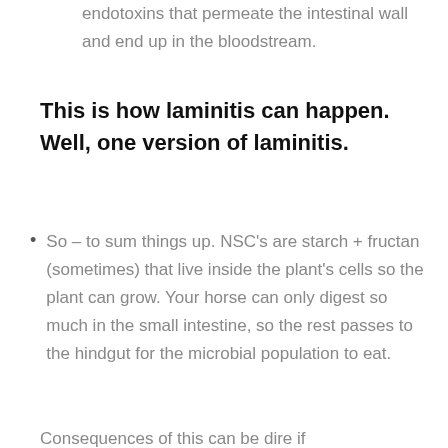endotoxins that permeate the intestinal wall and end up in the bloodstream.
This is how laminitis can happen. Well, one version of laminitis.
So – to sum things up. NSC's are starch + fructan (sometimes) that live inside the plant's cells so the plant can grow. Your horse can only digest so much in the small intestine, so the rest passes to the hindgut for the microbial population to eat.
Consequences of this can be dire if